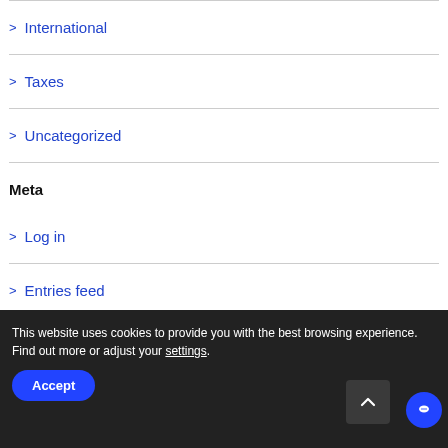> International
> Taxes
> Uncategorized
Meta
> Log in
> Entries feed
This website uses cookies to provide you with the best browsing experience. Find out more or adjust your settings.
Accept